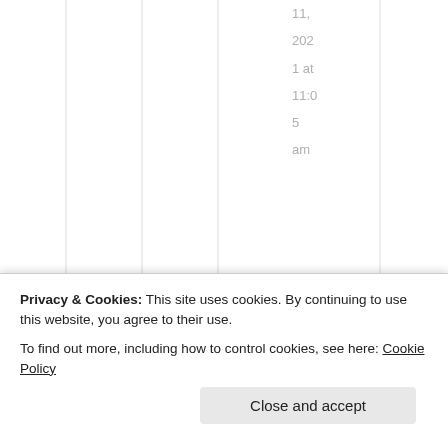11, 2021 at 11:05 am
America cannot be America without immigration
Privacy & Cookies: This site uses cookies. By continuing to use this website, you agree to their use.
To find out more, including how to control cookies, see here: Cookie Policy
Close and accept
ancestors